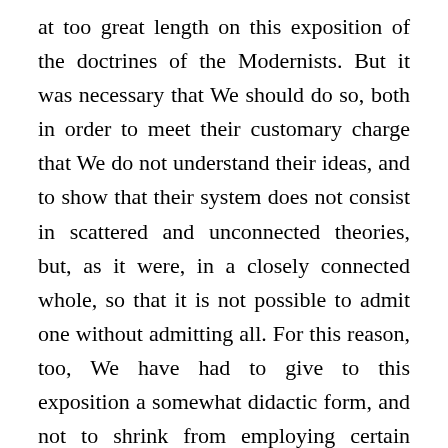at too great length on this exposition of the doctrines of the Modernists. But it was necessary that We should do so, both in order to meet their customary charge that We do not understand their ideas, and to show that their system does not consist in scattered and unconnected theories, but, as it were, in a closely connected whole, so that it is not possible to admit one without admitting all. For this reason, too, We have had to give to this exposition a somewhat didactic form, and not to shrink from employing certain unwonted terms which the Modernists have brought into use. And now with Our eyes fixed upon the whole system, no one will be surprised that